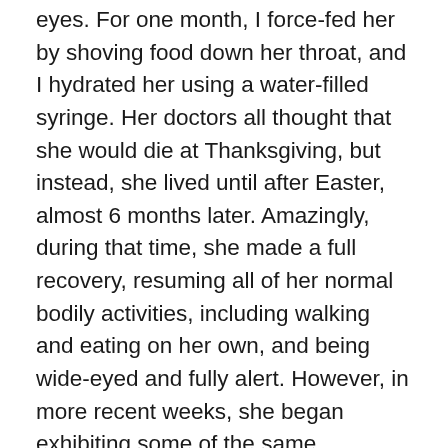eyes. For one month, I force-fed her by shoving food down her throat, and I hydrated her using a water-filled syringe. Her doctors all thought that she would die at Thanksgiving, but instead, she lived until after Easter, almost 6 months later. Amazingly, during that time, she made a full recovery, resuming all of her normal bodily activities, including walking and eating on her own, and being wide-eyed and fully alert. However, in more recent weeks, she began exhibiting some of the same symptoms as before. But this time, it felt different. It didn't seem like the result of a neurological “episode” or any specific disease. It seemed like old age was finally taking its toll, and her body was slowly shutting down. Specifically, during the last two weeks, I knew that